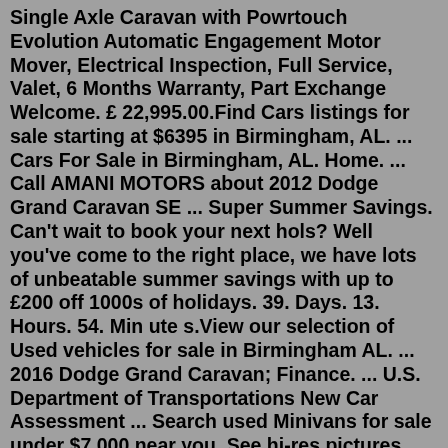Single Axle Caravan with Powrtouch Evolution Automatic Engagement Motor Mover, Electrical Inspection, Full Service, Valet, 6 Months Warranty, Part Exchange Welcome. £ 22,995.00.Find Cars listings for sale starting at $6395 in Birmingham, AL. ... Cars For Sale in Birmingham, AL. Home. ... Call AMANI MOTORS about 2012 Dodge Grand Caravan SE ... Super Summer Savings. Can't wait to book your next hols? Well you've come to the right place, we have lots of unbeatable summer savings with up to £200 off 1000s of holidays. 39. Days. 13. Hours. 54. Min ute s.View our selection of Used vehicles for sale in Birmingham AL. ... 2016 Dodge Grand Caravan; Finance. ... U.S. Department of Transportations New Car Assessment ... Search used Minivans for sale under $7,000 near you. See hi-res pictures, compare prices and find your perfect car at Auto.com. ... used 2012 Dodge Grand Caravan SXT ... TrueCar has 160 used Dodge Grand Caravan models for sale in Birmingham, AL, including a Dodge Grand Caravan SE and a Dodge Grand Caravan American